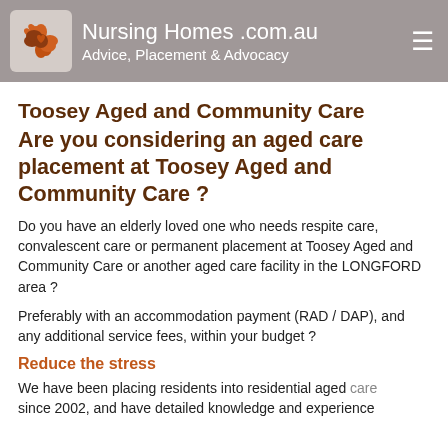Nursing Homes .com.au Advice, Placement & Advocacy
Toosey Aged and Community Care
Are you considering an aged care placement at Toosey Aged and Community Care ?
Do you have an elderly loved one who needs respite care, convalescent care or permanent placement at Toosey Aged and Community Care or another aged care facility in the LONGFORD area ?
Preferably with an accommodation payment (RAD / DAP), and any additional service fees, within your budget ?
Reduce the stress
We have been placing residents into residential aged care since 2002, and have detailed knowledge and experience